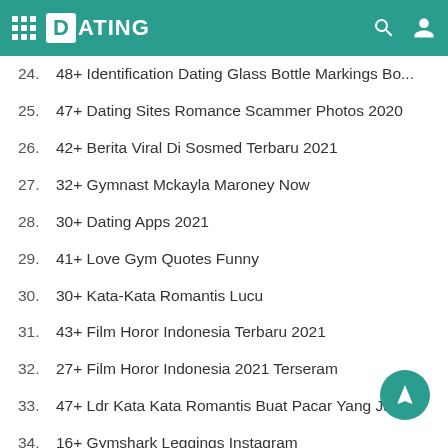DATING
24.  48+ Identification Dating Glass Bottle Markings Bo...
25.  47+ Dating Sites Romance Scammer Photos 2020
26.  42+ Berita Viral Di Sosmed Terbaru 2021
27.  32+ Gymnast Mckayla Maroney Now
28.  30+ Dating Apps 2021
29.  41+ Love Gym Quotes Funny
30.  30+ Kata-Kata Romantis Lucu
31.  43+ Film Horor Indonesia Terbaru 2021
32.  27+ Film Horor Indonesia 2021 Terseram
33.  47+ Ldr Kata Kata Romantis Buat Pacar Yang Jauh
34.  16+ Gymshark Leggings Instagram
35.  29+ Kata Kata Romantis Singkat Buat Pacar
36.  25+ Kata Kata Romantis Untuk Istri Yg Ulang Tahun